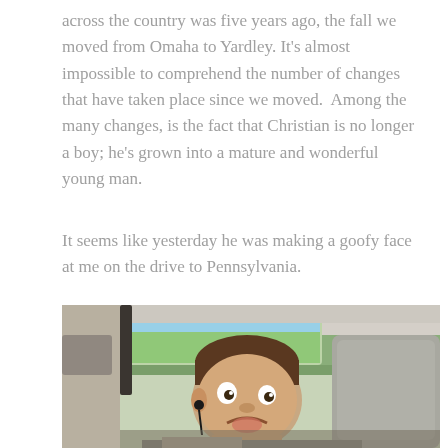across the country was five years ago, the fall we moved from Omaha to Yardley. It's almost impossible to comprehend the number of changes that have taken place since we moved.  Among the many changes, is the fact that Christian is no longer a boy; he's grown into a mature and wonderful young man.
It seems like yesterday he was making a goofy face at me on the drive to Pennsylvania.
[Figure (photo): A teenage boy making a goofy face while sitting in the back seat of a car. He has short brown hair and is wearing earphones. A car headrest is visible to the right and green trees/landscape can be seen through the window in the background.]